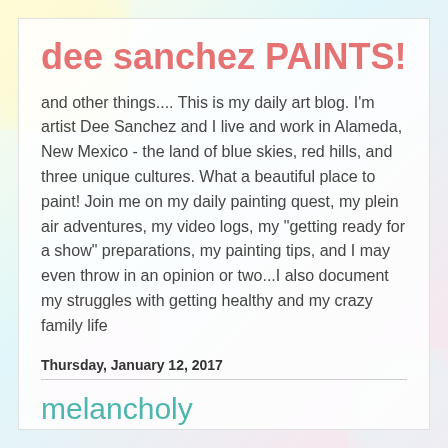dee sanchez PAINTS!
and other things.... This is my daily art blog. I'm artist Dee Sanchez and I live and work in Alameda, New Mexico - the land of blue skies, red hills, and three unique cultures. What a beautiful place to paint! Join me on my daily painting quest, my plein air adventures, my video logs, my "getting ready for a show" preparations, my painting tips, and I may even throw in an opinion or two...I also document my struggles with getting healthy and my crazy family life
Thursday, January 12, 2017
melancholy
I'm Back!